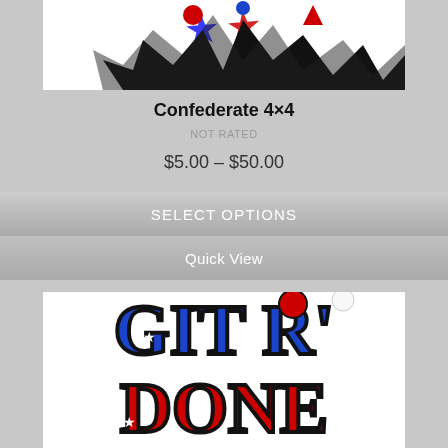[Figure (illustration): Top portion of a Confederate 4x4 product image showing grunge-style text art with red, white, blue and black colors]
Confederate 4×4
NOT RATED
$5.00 – $50.00
SELECT OPTIONS
Quick View
[Figure (illustration): Git-R-Done product image with bold stylized text in red, blue, black confederation flag pattern colors]